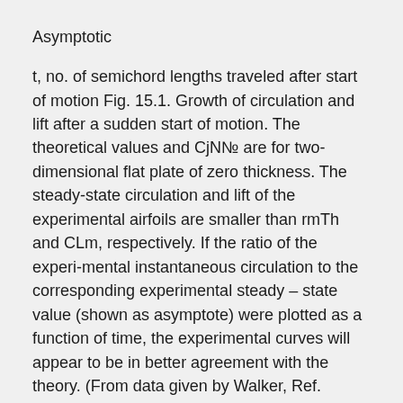Asymptotic
t, no. of semichord lengths traveled after start of motion Fig. 15.1. Growth of circulation and lift after a sudden start of motion. The theoretical values and CjN№ are for two-dimensional flat plate of zero thickness. The steady-state circulation and lift of the experimental airfoils are smaller than rmTh and CLm, respectively. If the ratio of the experimental instantaneous circulation to the corresponding experimental steady – state value (shown as asymptote) were plotted as a function of time, the experimental curves will appear to be in better agreement with the theory. (From data given by Walker, Ref. 15.119, and Francis, Ref. 15.113. Cambridge Aeronautical Laboratory. Wing chord 4 in. Reynolds number
1.4 x 105 (water). Span 6 in. between plane walls.)
shows the results obtained by Walker15119 and Francis15113